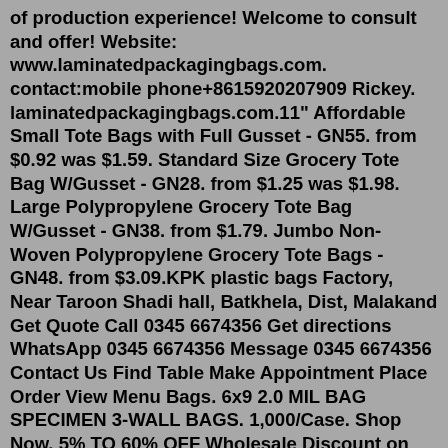of production experience! Welcome to consult and offer! Website: www.laminatedpackagingbags.com. contact:mobile phone+8615920207909 Rickey. laminatedpackagingbags.com.11" Affordable Small Tote Bags with Full Gusset - GN55. from $0.92 was $1.59. Standard Size Grocery Tote Bag W/Gusset - GN28. from $1.25 was $1.98. Large Polypropylene Grocery Tote Bag W/Gusset - GN38. from $1.79. Jumbo Non-Woven Polypropylene Grocery Tote Bags - GN48. from $3.09.KPK plastic bags Factory, Near Taroon Shadi hall, Batkhela, Dist, Malakand Get Quote Call 0345 6674356 Get directions WhatsApp 0345 6674356 Message 0345 6674356 Contact Us Find Table Make Appointment Place Order View Menu Bags. 6x9 2.0 MIL BAG SPECIMEN 3-WALL BAGS. 1,000/Case. Shop Now. 5% TO 60% OFF Wholesale Discount on Bulk Orders. 6W Multi-Color RGB LED Backdrop Uplight, Outdoor Waterproof Landscape Spotlight With Remote Control. $19.99 Factory Price. $31.98 Save $11.99. 3.Plastic Bag Holder, Lightweight Grocery Bag Holder for Plastic Bags, 2 Mild...